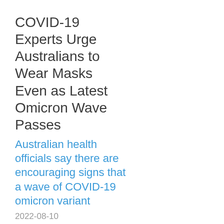COVID-19 Experts Urge Australians to Wear Masks Even as Latest Omicron Wave Passes
Australian health officials say there are encouraging signs that a wave of COVID-19 omicron variant
2022-08-10
As COVID-19 Cases Rise, New Variant Poses Major